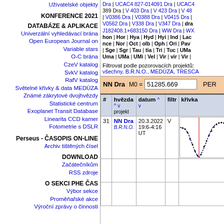Uživatelské objekty
KONFERENCE 2021
DATABÁZE & APLIKACE
Univerzální vyhledávací brána
Open European Journal on Variable stars
O-C brána
CzeV katalog
SvkV katalog
RafV katalog
Světelné křivky & data MEDÚZA
Známé zákrytové dvojhvězdy
Statistické centrum
Exoplanet Transit Database
Linearita CCD kamer
Fotometrie s DSLR
Perseus - ČASOPIS ON-LINE
Archiv tištěných čísel
DOWNLOAD
Začátečníkům
RSS zdroje
O SEKCI PHE ČAS
Výbor sekce
Proměňařské akce
Výroční zprávy o činnosti
Dra | UCAC4 827-014091 Dra | UCAC4 389 Dra | V 403 Dra | V 423 Dra | V 48 | V0386 Dra | V0388 Dra | V0415 Dra | V0562 Dra | V338 Dra | V347 Dra | dra J182408.1+683150 Dra | WW Dra | WX hon | Hor | Hya | Hyd | Hyi | Ind | Lac nce | Nor | Oct | olb | Oph | Ori | Pav | Sge | Sgr | Tau | tia | Tri | Tuc | UMa Uma | UMa | UMi | Vel | Vir | vir | Vir |
Filtrovat podle pozorovacích projektů: všechny, B.R.N.O., MEDÚZA, TRESCA
NN Dra  M0 = 51285.669  PER
| # | hvězda ^ v projekt | datum ^ v | filtr | křivka |
| --- | --- | --- | --- | --- |
| 31 | NN Dra
B.R.N.O. | 20.3.2022 19:6-4:16 UT | V | [light curve image] |